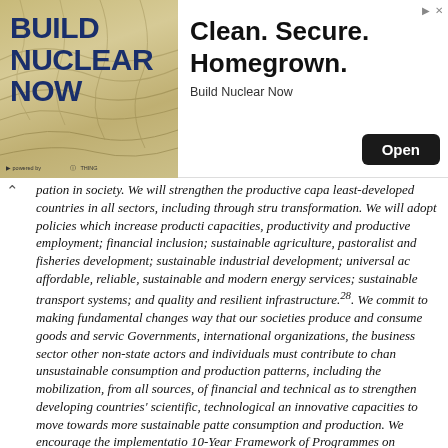[Figure (photo): Advertisement banner for 'Build Nuclear Now' campaign showing left side with stylized text 'BUILD NUCLEAR NOW' on a tan/gold background with topographic lines, and right side with headline 'Clean. Secure. Homegrown.' with an 'Open' button and 'Build Nuclear Now' brand name.]
pation in society. We will strengthen the productive capa least-developed countries in all sectors, including through stru transformation. We will adopt policies which increase producti capacities, productivity and productive employment; financial inclusion; sustainable agriculture, pastoralist and fisheries development; sustainable industrial development; universal ac affordable, reliable, sustainable and modern energy services; sustainable transport systems; and quality and resilient infrastructure.28. We commit to making fundamental changes way that our societies produce and consume goods and servic Governments, international organizations, the business sector other non-state actors and individuals must contribute to chan unsustainable consumption and production patterns, including the mobilization, from all sources, of financial and technical as to strengthen developing countries' scientific, technological an innovative capacities to move towards more sustainable patte consumption and production. We encourage the implementatio 10-Year Framework of Programmes on Sustainable Consump Production. All countries take action, with developed countri